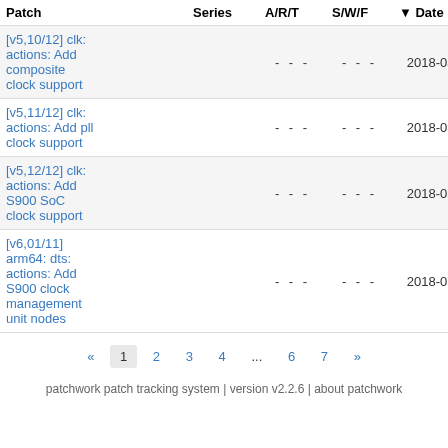| Patch | Series | A/R/T | S/W/F | Date | Submitter |
| --- | --- | --- | --- | --- | --- |
| [v5,10/12] clk: actions: Add composite clock support |  | - - - | - - - | 2018-03-17 | Manivanna Sadhasivam |
| [v5,11/12] clk: actions: Add pll clock support |  | - - - | - - - | 2018-03-17 | Manivanna Sadhasivam |
| [v5,12/12] clk: actions: Add S900 SoC clock support |  | - - - | - - - | 2018-03-17 | Manivanna Sadhasivam |
| [v6,01/11] arm64: dts: actions: Add S900 clock management unit nodes |  | - - - | - - - | 2018-03-24 | Manivanna Sadhasivam |
« 1 2 3 4 ... 6 7 »
patchwork patch tracking system | version v2.2.6 | about patchwork